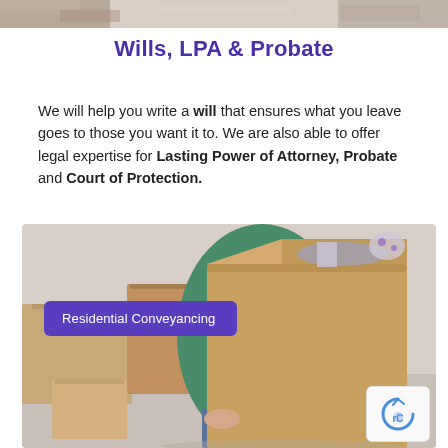[Figure (photo): Top portion of a photo showing people, partially cropped at the top of the page]
Wills, LPA & Probate
We will help you write a will that ensures what you leave goes to those you want it to. We are also able to offer legal expertise for Lasting Power of Attorney, Probate and Court of Protection.
[Figure (photo): Person carrying a large cardboard box surrounded by other moving boxes, with a purple label reading 'Residential Conveyancing' in the lower left]
Residential Conveyancing